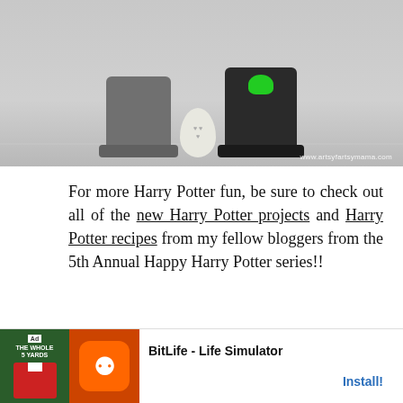[Figure (photo): Photo of Harry Potter themed craft items: gray cauldron, white egg with heart decorations, and black cauldron with green skull on top, arranged on a white surface. Watermark reads www.artsyfartsymama.com]
For more Harry Potter fun, be sure to check out all of the new Harry Potter projects and Harry Potter recipes from my fellow bloggers from the 5th Annual Happy Harry Potter series!!
[Figure (screenshot): Advertisement banner for BitLife - Life Simulator game, showing game imagery on the left and an Install button on the right.]